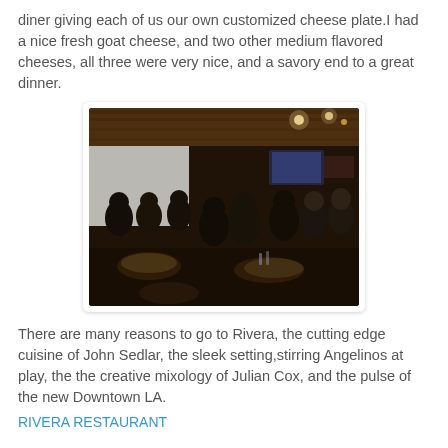diner giving each of us our own customized cheese plate.I had a nice fresh goat cheese, and two other medium flavored cheeses, all three were very nice, and a savory end to a great dinner.
[Figure (photo): Interior of Rivera restaurant showing diners seated at tables in a dimly lit modern setting with wooden ceiling and ambient lighting]
There are many reasons to go to Rivera, the cutting edge cuisine of John Sedlar, the sleek setting,stirring Angelinos at play, the the creative mixology of Julian Cox, and the pulse of the new Downtown LA.
RIVERA RESTAURANT